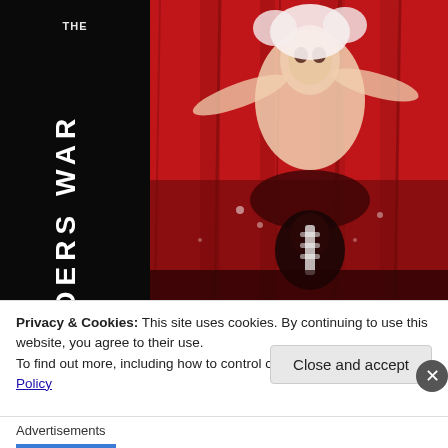[Figure (illustration): Book cover artwork for 'The Outsiders War' — dramatic red background with illustrated figures in combat; title text 'THE OUTSIDERS WAR' displayed vertically on the left spine in white/cracked lettering on black]
Privacy & Cookies: This site uses cookies. By continuing to use this website, you agree to their use.
To find out more, including how to control cookies, see here: Cookie Policy
Close and accept
Advertisements